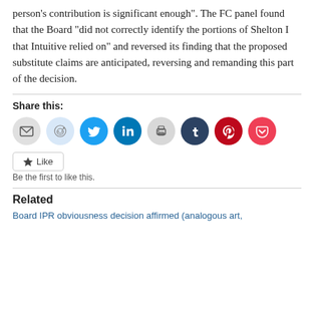person’s contribution is significant enough”. The FC panel found that the Board “did not correctly identify the portions of Shelton I that Intuitive relied on” and reversed its finding that the proposed substitute claims are anticipated, reversing and remanding this part of the decision.
[Figure (infographic): Social share buttons row: email, Reddit, Twitter, LinkedIn, print, Tumblr, Pinterest, Pocket]
[Figure (infographic): Like button widget with star icon and text 'Be the first to like this.']
Related
Board IPR obviousness decision affirmed (analogous art,